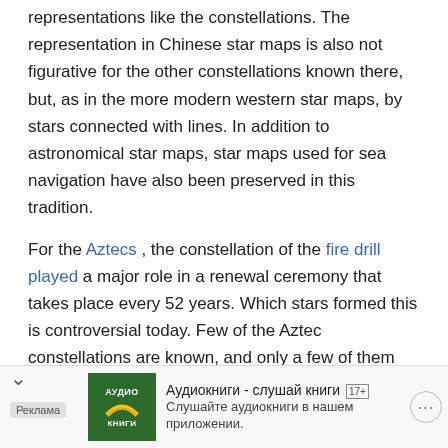representations like the constellations. The representation in Chinese star maps is also not figurative for the other constellations known there, but, as in the more modern western star maps, by stars connected with lines. In addition to astronomical star maps, star maps used for sea navigation have also been preserved in this tradition.
For the Aztecs , the constellation of the fire drill played a major role in a renewal ceremony that takes place every 52 years. Which stars formed this is controversial today. Few of the Aztec constellations are known, and only a few of them can be located in the sky.
The pre-Islamic Bedouin constellations of Arabia are also only known in exceptional cases and localized in the sky.
Scriptless cultures
The Australian Aborigines and the San (Bushmen) in southern Africa know other images besides the images ned by stars. The dark clouds of dust in front of the band